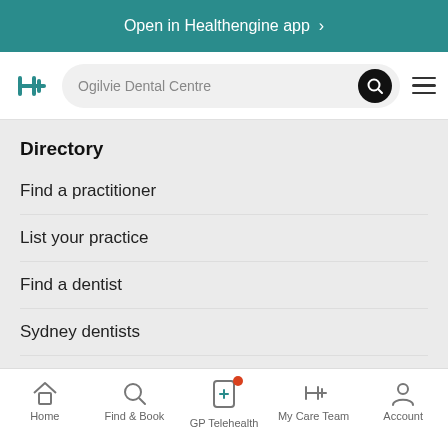Open in Healthengine app >
[Figure (screenshot): Healthengine app navigation bar with logo, search bar showing 'Ogilvie Dental Centre', search button, and hamburger menu]
Directory
Find a practitioner
List your practice
Find a dentist
Sydney dentists
Melbourne dentists
Home  Find & Book  GP Telehealth  My Care Team  Account